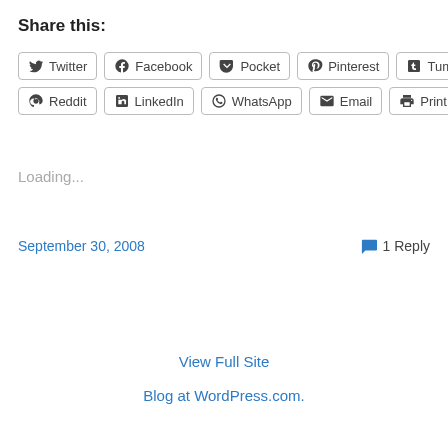Share this:
Twitter, Facebook, Pocket, Pinterest, Tumblr, Reddit, LinkedIn, WhatsApp, Email, Print
Loading...
September 30, 2008
1 Reply
View Full Site
Blog at WordPress.com.